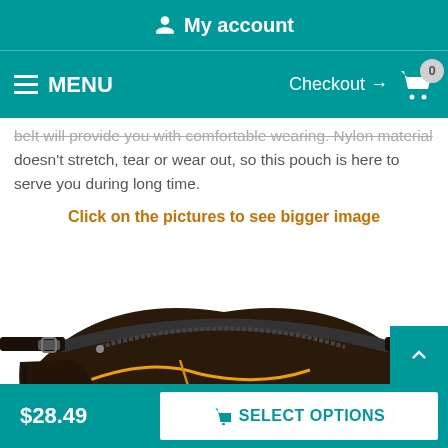My account
MENU  Checkout → 0
belt will provide you with comfortable wearing. Nylon material doesn't stretch, tear or wear out, so this pouch is here to serve you during long time.
Click on the pictures to see bigger image
[Figure (photo): Dark brown nylon waist/fanny pack with yellow zipper accents and black belt strap, viewed from above at an angle]
$28.49  SELECT OPTIONS